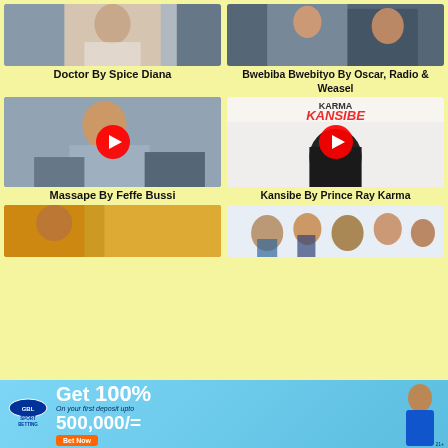[Figure (photo): Thumbnail image for Doctor by Spice Diana]
Doctor By Spice Diana
[Figure (photo): Thumbnail image for Bwebiba Bwebityo by Oscar, Radio & Weasel]
Bwebiba Bwebityo By Oscar, Radio & Weasel
[Figure (photo): Thumbnail of artist for Massape by Feffe Bussi with play button overlay]
Massape By Feffe Bussi
[Figure (photo): Thumbnail of Kansibe by Prince Ray Karma album art with play button overlay]
Kansibe By Prince Ray Karma
[Figure (photo): Partial thumbnail of another music video/song]
[Figure (photo): Partial thumbnail of another music video/song with group of people]
[Figure (other): GBL Sport Betting advertisement banner: Get 100% on your first deposit upto 500,000/=, Bet Now, 21+]